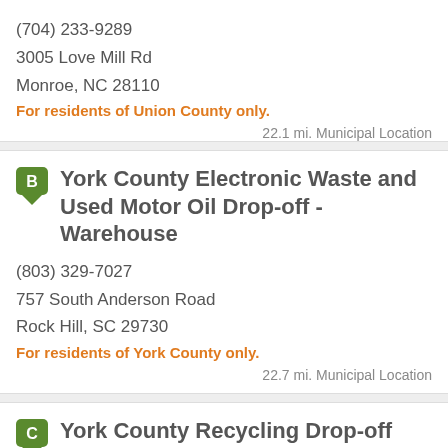(704) 233-9289
3005 Love Mill Rd
Monroe, NC 28110
For residents of Union County only.
22.1 mi. Municipal Location
York County Electronic Waste and Used Motor Oil Drop-off - Warehouse
(803) 329-7027
757 South Anderson Road
Rock Hill, SC 29730
For residents of York County only.
22.7 mi. Municipal Location
York County Recycling Drop-off Program - Tirzah
(803) 628-3195